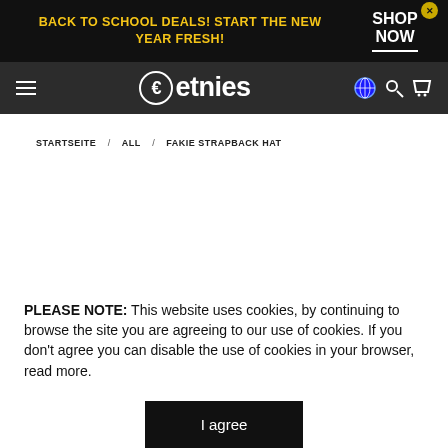BACK TO SCHOOL DEALS! START THE NEW YEAR FRESH! SHOP NOW
[Figure (logo): Etnies brand logo with backwards E arrow on dark grey navigation bar with hamburger menu, search and cart icons]
STARTSEITE / ALL / FAKIE STRAPBACK HAT
PLEASE NOTE: This website uses cookies, by continuing to browse the site you are agreeing to our use of cookies. If you don't agree you can disable the use of cookies in your browser, read more.
I agree
Deutsch